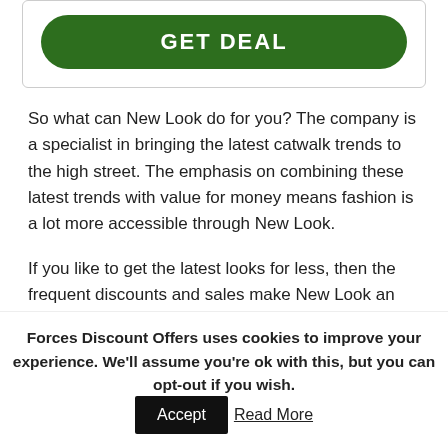[Figure (other): Green GET DEAL button inside a card border]
So what can New Look do for you? The company is a specialist in bringing the latest catwalk trends to the high street. The emphasis on combining these latest trends with value for money means fashion is a lot more accessible through New Look.
If you like to get the latest looks for less, then the frequent discounts and sales make New Look an ideal destination. Whether you're interested in the latest
Forces Discount Offers uses cookies to improve your experience. We'll assume you're ok with this, but you can opt-out if you wish. Accept Read More